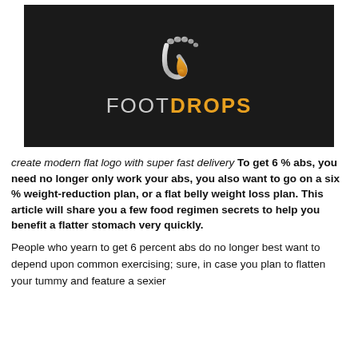[Figure (logo): FOOTDROPS logo on black background — stylized foot silhouette with silver/white toes and a golden liquid drop forming the arch, with text 'FOOT' in gray and 'DROPS' in orange/gold below]
create modern flat logo with super fast delivery To get 6 % abs, you need no longer only work your abs, you also want to go on a six % weight-reduction plan, or a flat belly weight loss plan. This article will share you a few food regimen secrets to help you benefit a flatter stomach very quickly.
People who yearn to get 6 percent abs do no longer best want to depend upon common exercising; sure, in case you plan to flatten your tummy and feature a sexier